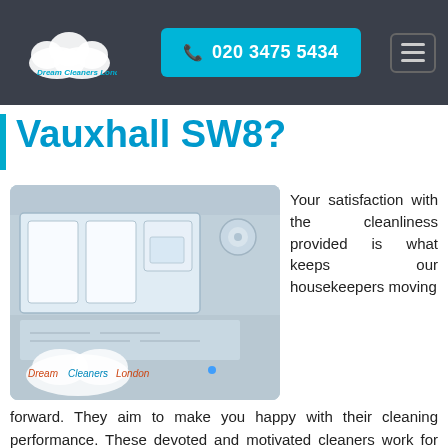Dream Cleaners London | 020 3475 5434
Vauxhall SW8?
[Figure (photo): Close-up photo of an open washing machine detergent drawer, showing multiple compartments. Dream Cleaners London watermark visible at bottom left.]
Your satisfaction with the cleanliness provided is what keeps our housekeepers moving forward. They aim to make you happy with their cleaning performance. These devoted and motivated cleaners work for our company in